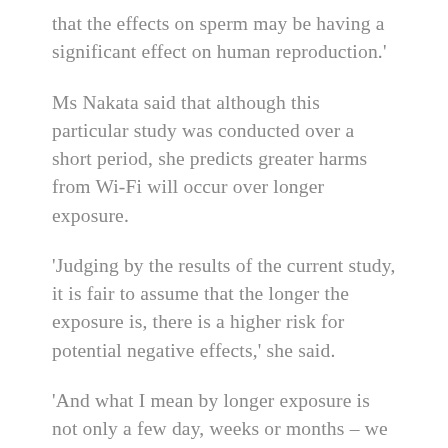that the effects on sperm may be having a significant effect on human reproduction.'
Ms Nakata said that although this particular study was conducted over a short period, she predicts greater harms from Wi-Fi will occur over longer exposure.
'Judging by the results of the current study, it is fair to assume that the longer the exposure is, there is a higher risk for potential negative effects,' she said.
'And what I mean by longer exposure is not only a few day, weeks or months – we are talking about years.